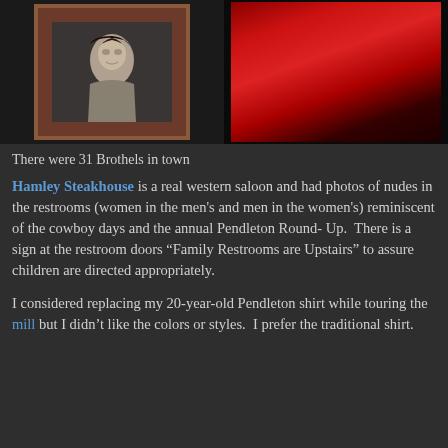[Figure (photo): Two photos side by side: left shows a framed black-and-white portrait of a woman with short dark hair; right shows a red fabric or garment against a dark background.]
There were 31 Brothels in town
Hamley Steakhouse is a real western saloon and had photos of nudes in the restrooms (women in the men's and men in the women's) reminiscent of the cowboy days and the annual Pendleton Round-Up.  There is a sign at the restroom doors “Family Restrooms are Upstairs” to assure children are directed appropriately.
I considered replacing my 20-year-old Pendleton shirt while touring the mill but I didn’t like the colors or styles.  I prefer the traditional shirt.